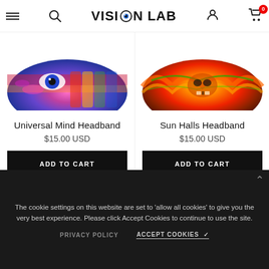VISION LAB
[Figure (photo): Universal Mind Headband product image - colorful psychedelic pattern with eye motif]
Universal Mind Headband
$15.00 USD
ADD TO CART
[Figure (photo): Sun Halls Headband product image - fire/orange psychedelic pattern]
Sun Halls Headband
$15.00 USD
ADD TO CART
The cookie settings on this website are set to 'allow all cookies' to give you the very best experience. Please click Accept Cookies to continue to use the site.
PRIVACY POLICY
ACCEPT COOKIES ✓